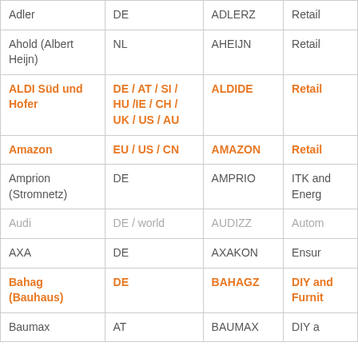| Company | Country | Code | Sector |
| --- | --- | --- | --- |
| Adler | DE | ADLERZ | Retail |
| Ahold (Albert Heijn) | NL | AHEIJN | Retail |
| ALDI Süd und Hofer | DE / AT / SI / HU /IE / CH / UK / US / AU | ALDIDE | Retail |
| Amazon | EU / US / CN | AMAZON | Retail |
| Amprion (Stromnetz) | DE | AMPRIO | ITK and Energy |
| Audi | DE / world | AUDIZZ | Automotive |
| AXA | DE | AXAKON | Ensure |
| Bahag (Bauhaus) | DE | BAHAGZ | DIY and Furniture |
| Baumax | AT | BAUMAX | DIY and |